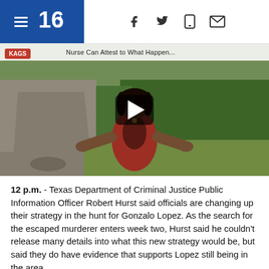KAGS 16 news header with navigation icons (facebook, twitter, mobile, email)
[Figure (screenshot): Video thumbnail showing a woman in a red dress standing on a roadside with green vegetation, KAGS badge top-left, play button overlay, partially visible headline text at top]
12 p.m. - Texas Department of Criminal Justice Public Information Officer Robert Hurst said officials are changing up their strategy in the hunt for Gonzalo Lopez. As the search for the escaped murderer enters week two, Hurst said he couldn't release many details into what this new strategy would be, but said they do have evidence that supports Lopez still being in the area.